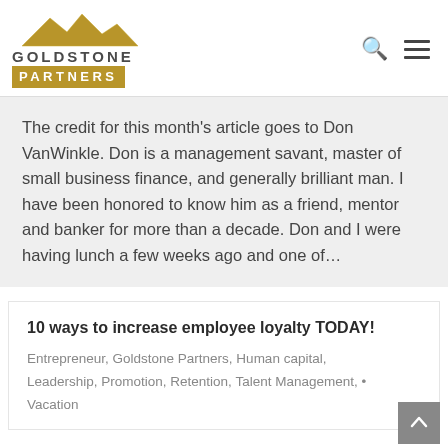[Figure (logo): Goldstone Partners logo with mountain silhouette in gold and company name]
The credit for this month’s article goes to Don VanWinkle. Don is a management savant, master of small business finance, and generally brilliant man. I have been honored to know him as a friend, mentor and banker for more than a decade. Don and I were having lunch a few weeks ago and one of…
10 ways to increase employee loyalty TODAY!
Entrepreneur, Goldstone Partners, Human capital, Leadership, Promotion, Retention, Talent Management, Vacation